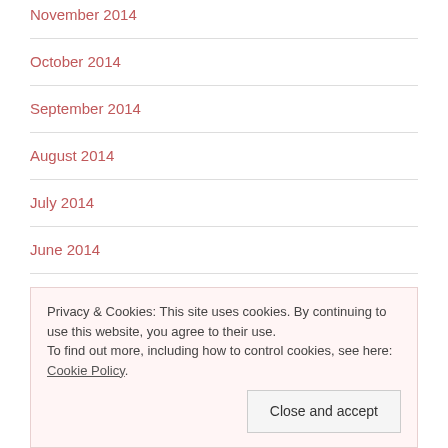November 2014
October 2014
September 2014
August 2014
July 2014
June 2014
May 2014
Privacy & Cookies: This site uses cookies. By continuing to use this website, you agree to their use.
To find out more, including how to control cookies, see here: Cookie Policy